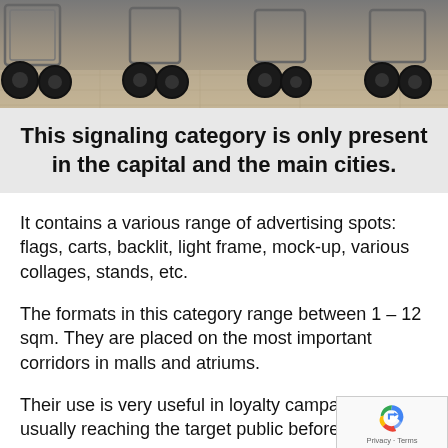[Figure (photo): Photo of shopping carts viewed from below/side showing wheels on a tiled floor]
This signaling category is only present in the capital and the main cities.
It contains a various range of advertising spots: flags, carts, backlit, light frame, mock-up, various collages, stands, etc.
The formats in this category range between 1 – 12 sqm. They are placed on the most important corridors in malls and atriums.
Their use is very useful in loyalty campaigns, usually reaching the target public before the